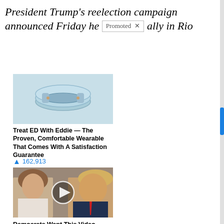President Trump's reelection campaign announced Friday he [Promoted ×] ally in Rio
[Figure (photo): Light blue wearable medical device ring/bands product photo on white background]
Treat ED With Eddie — The Proven, Comfortable Wearable That Comes With A Satisfaction Guarantee
🔥 162,913
[Figure (photo): Photo of Melania Trump and Donald Trump with a video play button overlay]
Democrats Want This Video Destroyed — Watch Now Before It's Banned
🔥 233,810